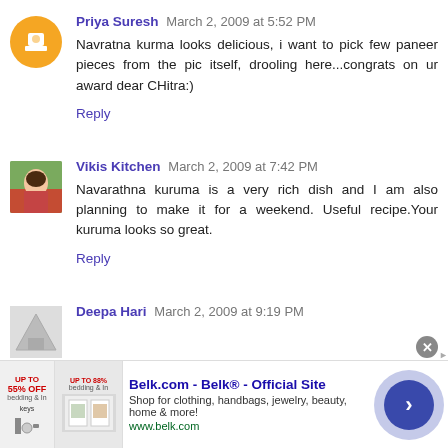Priya Suresh March 2, 2009 at 5:52 PM
Navratna kurma looks delicious, i want to pick few paneer pieces from the pic itself, drooling here...congrats on ur award dear CHitra:)
Reply
Vikis Kitchen March 2, 2009 at 7:42 PM
Navarathna kuruma is a very rich dish and I am also planning to make it for a weekend. Useful recipe.Your kuruma looks so great.
Reply
Deepa Hari March 2, 2009 at 9:19 PM
[Figure (screenshot): Advertisement banner for Belk.com - Belk Official Site showing store images and a forward arrow button]